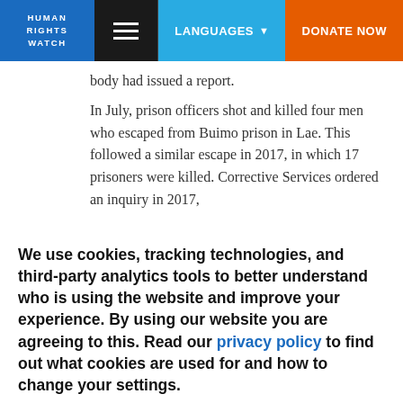HUMAN RIGHTS WATCH | LANGUAGES | DONATE NOW
body had issued a report.
In July, prison officers shot and killed four men who escaped from Buimo prison in Lae. This followed a similar escape in 2017, in which 17 prisoners were killed. Corrective Services ordered an inquiry in 2017,
We use cookies, tracking technologies, and third-party analytics tools to better understand who is using the website and improve your experience. By using our website you are agreeing to this. Read our privacy policy to find out what cookies are used for and how to change your settings.
Accept | Other options